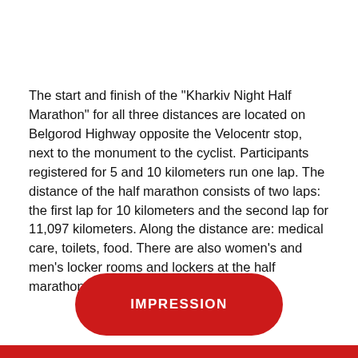The start and finish of the "Kharkiv Night Half Marathon" for all three distances are located on Belgorod Highway opposite the Velocentr stop, next to the monument to the cyclist. Participants registered for 5 and 10 kilometers run one lap. The distance of the half marathon consists of two laps: the first lap for 10 kilometers and the second lap for 11,097 kilometers. Along the distance are: medical care, toilets, food. There are also women's and men's locker rooms and lockers at the half marathon.
[Figure (other): Red rounded rectangle button with white bold uppercase text reading IMPRESSION]